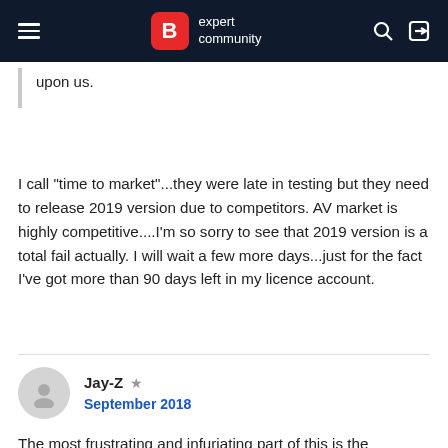B expert community
upon us.
I call "time to market"...they were late in testing but they need to release 2019 version due to competitors. AV market is highly competitive....I'm so sorry to see that 2019 version is a total fail actually. I will wait a few more days...just for the fact I've got more than 90 days left in my licence account.
Jay-Z ★
September 2018
The most frustrating and infuriating part of this is the